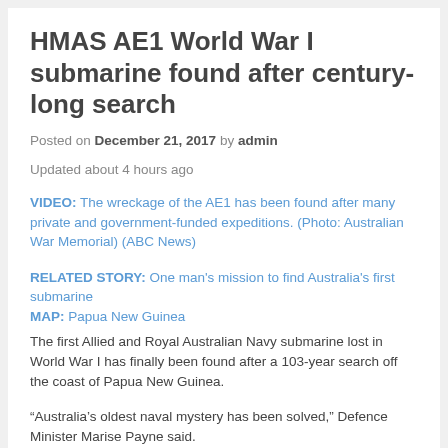HMAS AE1 World War I submarine found after century-long search
Posted on December 21, 2017 by admin
Updated about 4 hours ago
VIDEO: The wreckage of the AE1 has been found after many private and government-funded expeditions. (Photo: Australian War Memorial) (ABC News)
RELATED STORY: One man's mission to find Australia's first submarine
MAP: Papua New Guinea
The first Allied and Royal Australian Navy submarine lost in World War I has finally been found after a 103-year search off the coast of Papua New Guinea.
“Australia’s oldest naval mystery has been solved,” Defence Minister Marise Payne said.